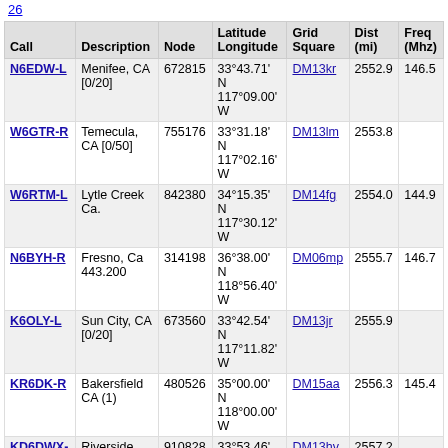26
| Call | Description | Node | Latitude Longitude | Grid Square | Dist (mi) | Freq (Mhz) |
| --- | --- | --- | --- | --- | --- | --- |
| N6EDW-L | Menifee, CA [0/20] | 672815 | 33°43.71' N 117°09.00' W | DM13kr | 2552.9 | 146.5 |
| W6GTR-R | Temecula, CA [0/50] | 755176 | 33°31.18' N 117°02.16' W | DM13lm | 2553.8 |  |
| W6RTM-L | Lytle Creek Ca. | 842380 | 34°15.35' N 117°30.12' W | DM14fg | 2554.0 | 144.9 |
| N6BYH-R | Fresno, Ca 443.200 | 314198 | 36°38.00' N 118°56.40' W | DM06mp | 2555.7 | 146.7 |
| K6OLY-L | Sun City, CA [0/20] | 673560 | 33°42.54' N 117°11.82' W | DM13jr | 2555.9 |  |
| KR6DK-R | Bakersfield CA (1) | 480526 | 35°00.00' N 118°00.00' W | DM15aa | 2556.3 | 145.4 |
| KD6DWX-L | Riverside, CA [0/20] | 910828 | 33°53.46' N 117°20.22' W | DM13hv | 2557.2 |  |
| K6FED-L | Rancho Cucamonga Ca. [0/20] | 325236 | 34°09.38' N 117°31.44' W | DM14fd | 2558.3 |  |
| W6CTR-R | Ontario, CA [0/20] | 379885 | 34°05.33' N 117°36.48' W | DM14ec | 2564.7 |  |
| W7RXJ-R | McMinnville, Oregon | 576557 | 45°05.56' N 123°08.46' W | CN85kc | 2565.4 | 146.6 |
| N6LIX-L | Ca [0/20] | 167003 | 34°06.42' N | DM14ec | 2566.3 |  |